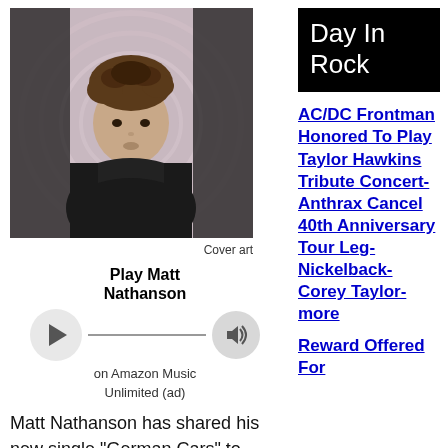[Figure (photo): Black and white photo of Matt Nathanson, a man with curly hair wearing a black hoodie, against a light background with circular pattern]
Cover art
[Figure (other): Amazon Music player widget showing Play Matt Nathanson on Amazon Music Unlimited (ad) with play button, progress bar, and volume button]
Matt Nathanson has shared his new single "German Cars" to celebrate the news that he will be releasing his new Butch Walker produced album, "Boston Accent", on July 29th.
He had this to say: "as a kid, I
Day In Rock
AC/DC Frontman Honored To Play Taylor Hawkins Tribute Concert- Anthrax Cancel 40th Anniversary Tour Leg- Nickelback- Corey Taylor- more
Reward Offered For